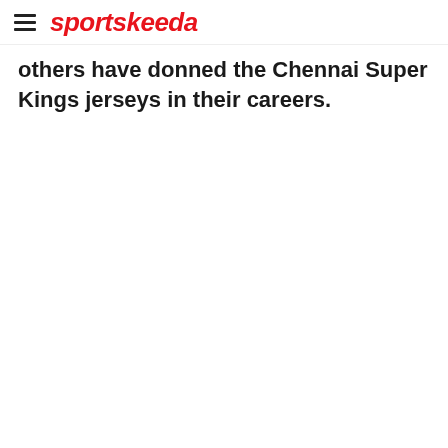sportskeeda
others have donned the Chennai Super Kings jerseys in their careers.